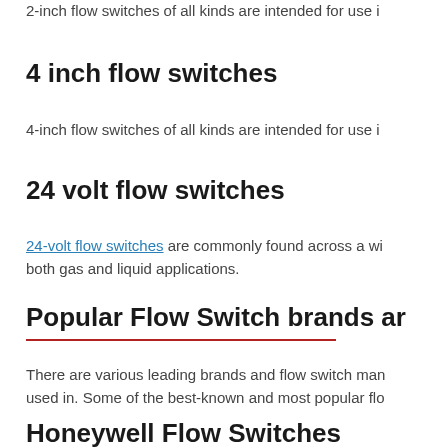2-inch flow switches of all kinds are intended for use i…
4 inch flow switches
4-inch flow switches of all kinds are intended for use i…
24 volt flow switches
24-volt flow switches are commonly found across a wi… both gas and liquid applications.
Popular Flow Switch brands ar…
There are various leading brands and flow switch man… used in. Some of the best-known and most popular flo…
Honeywell Flow Switches